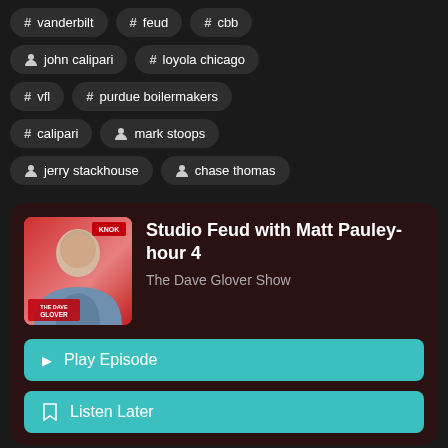# vanderbilt
# feud
# cbb
person john calipari
# loyola chicago
# vfl
# purdue boilermakers
# calipari
person mark stoops
person jerry stackhouse
person chase thomas
Studio Feud with Matt Pauley- hour 4
The Dave Glover Show
Play Episode
Listen Later